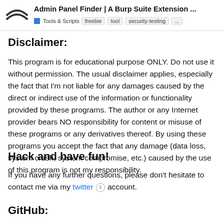Admin Panel Finder | A Burp Suite Extension ... | Tools & Scripts  freebie  tool  security-testing  ...
Disclaimer:
This program is for educational purpose ONLY. Do not use it without permission. The usual disclaimer applies, especially the fact that I'm not liable for any damages caused by the direct or indirect use of the information or functionality provided by these programs. The author or any Internet provider bears NO responsibility for content or misuse of these programs or any derivatives thereof. By using these programs you accept the fact that any damage (data loss, system crash, system compromise, etc.) caused by the use of this program is not my responsibility.
Hack and have fun!
If you have any further questions, please don't hesitate to contact me via my twitter account.
GitHub: